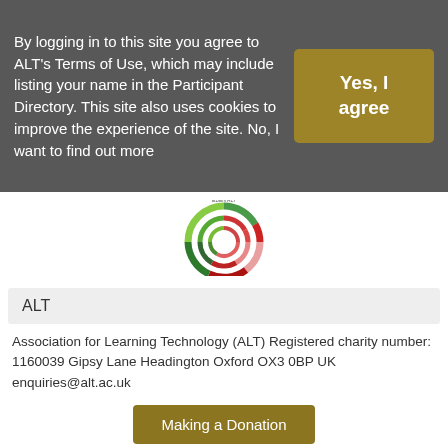By logging in to this site you agree to ALT's Terms of Use, which may include listing your name in the Participant Directory. This site also uses cookies to improve the experience of the site. No, I want to find out more
Yes, I agree
[Figure (logo): EDEN ALT circular logo with red, green and pink segments]
ALT
Association for Learning Technology (ALT) Registered charity number: 1160039 Gipsy Lane Headington Oxford OX3 0BP UK enquiries@alt.ac.uk
Making a Donation
Creative Commons